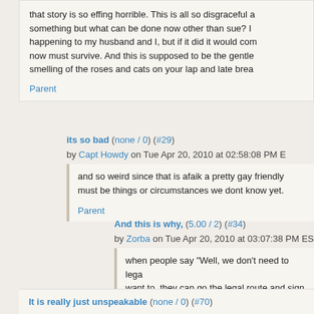that story is so effing horrible.  This is all so disgraceful a something but what can be done now other than sue?  I happening to my husband and I, but if it did it would com now must survive.  And this is supposed to be the gentle smelling of the roses and cats on your lap and late brea
Parent
its so bad (none / 0) (#29) by Capt Howdy on Tue Apr 20, 2010 at 02:58:08 PM E
and so weird since that is afaik a pretty gay friendly must be things or circumstances we dont know yet.
Parent
And this is why, (5.00 / 2) (#34) by Zorba on Tue Apr 20, 2010 at 03:07:38 PM ES
when people say "Well, we don't need to lega want to, they can go the legal route and sign m powers of attorney, wills, etc."  Apparently, thi absolute idiots (of whom there are far too man
Parent
It is really just unspeakable (none / 0) (#70)